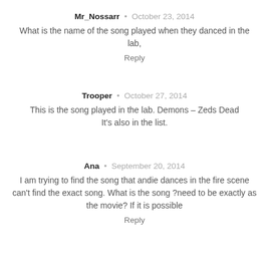Mr_Nossarr • October 23, 2014
What is the name of the song played when they danced in the lab,
Reply
Trooper • October 27, 2014
This is the song played in the lab. Demons – Zeds Dead
It's also in the list.
Ana • September 20, 2014
I am trying to find the song that andie dances in the fire scene can't find the exact song. What is the song ?need to be exactly as the movie? If it is possible
Reply